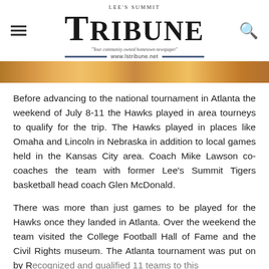Lee's Summit Tribune — www.lstribune.net
[Figure (photo): Partial photo showing a wooden surface with orange and brown tones, cropped at the top of the article.]
Before advancing to the national tournament in Atlanta the weekend of July 8-11 the Hawks played in area tourneys to qualify for the trip. The Hawks played in places like Omaha and Lincoln in Nebraska in addition to local games held in the Kansas City area. Coach Mike Lawson co-coaches the team with former Lee's Summit Tigers basketball head coach Glen McDonald.
There was more than just games to be played for the Hawks once they landed in Atlanta. Over the weekend the team visited the College Football Hall of Fame and the Civil Rights museum. The Atlanta tournament was put on by Recognized and qualified 11 teams to this